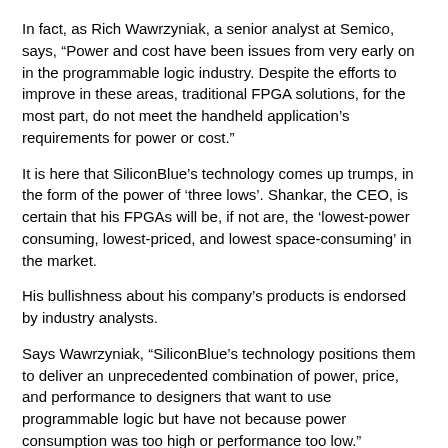In fact, as Rich Wawrzyniak, a senior analyst at Semico, says, “Power and cost have been issues from very early on in the programmable logic industry. Despite the efforts to improve in these areas, traditional FPGA solutions, for the most part, do not meet the handheld application’s requirements for power or cost.”
It is here that SiliconBlue’s technology comes up trumps, in the form of the power of ‘three lows’. Shankar, the CEO, is certain that his FPGAs will be, if not are, the ‘lowest-power consuming, lowest-priced, and lowest space-consuming’ in the market.
His bullishness about his company’s products is endorsed by industry analysts.
Says Wawrzyniak, “SiliconBlue’s technology positions them to deliver an unprecedented combination of power, price, and performance to designers that want to use programmable logic but have not because power consumption was too high or performance too low.”
Shankar, well aware of this when he started his company in late 2005, says, “We began with the aim of building the lowest-power FPGA.” And along with his team he created an NVCM (Non-Volatile Configuration Memory) technology based on the leading edge 65nm process node. “Since new process nodes with lower capacitance and voltage consume roughly one-third to one-fifth of the power of older process nodes, the power consumption was straightaway cut. Using this process node, we built a brand new FPGA fabric,” explains Shankar.
On the way, they sacrificed some speed for low power. “We kept in mind that we’re not going to power a server, but only a small handset; speed…